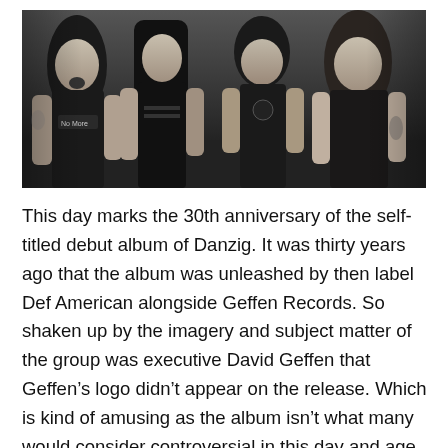[Figure (photo): Black and white photograph of four band members (Danzig) posed together. They have long hair and are wearing sleeveless shirts. One shirt reads 'No More'.]
This day marks the 30th anniversary of the self-titled debut album of Danzig. It was thirty years ago that the album was unleashed by then label Def American alongside Geffen Records. So shaken up by the imagery and subject matter of the group was executive David Geffen that Geffen's logo didn't appear on the release. Which is kind of amusing as the album isn't what many would consider controversial in this day and age featuring no profanity or overly violent lyrics, but this was a different time.